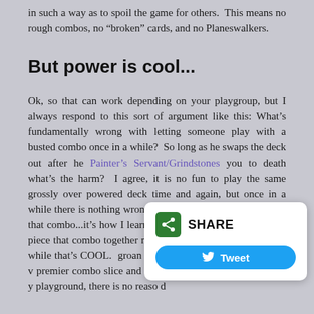in such a way as to spoil the game for others.  This means no rough combos, no “broken” cards, and no Planeswalkers.
But power is cool...
Ok, so that can work depending on your playgroup, but I always respond to this sort of argument like this: What’s fundamentally wrong with letting someone play with a busted combo once in a while?  So long as he swaps the deck out after he Painter’s Servant/Grindstones you to death what’s the harm?  I agree, it is no fun to play the same grossly over powered deck time and again, but once in a while there is nothing wrong with it.  In fact, I WANT to see that combo...it’s how I learn! It is highly unlikely I will ever piece that combo together myself, so if I can see it once in a while that’s COOL. groan and scoop, but the fact is we just w premier combo slice and dic ... and it’s even MORE fun if y playground, there is no reaso d